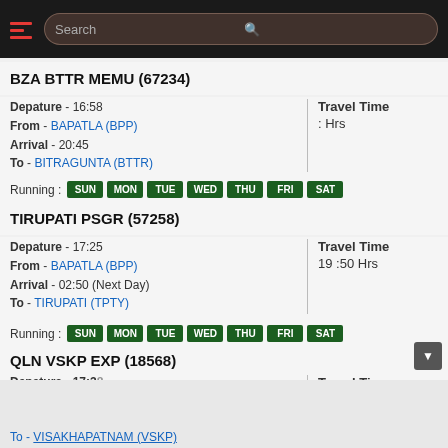[Figure (screenshot): Mobile app header bar with hamburger menu and search box]
BZA BTTR MEMU (67234)
Depature - 16:58
From - BAPATLA (BPP)
Arrival - 20:45
To - BITRAGUNTA (BTTR)
Travel Time
: Hrs
Running : SUN MON TUE WED THU FRI SAT
TIRUPATI PSGR (57258)
Depature - 17:25
From - BAPATLA (BPP)
Arrival - 02:50 (Next Day)
To - TIRUPATI (TPTY)
Travel Time
19 :50 Hrs
Running : SUN MON TUE WED THU FRI SAT
QLN VSKP EXP (18568)
Depature - 17:38
Travel Time